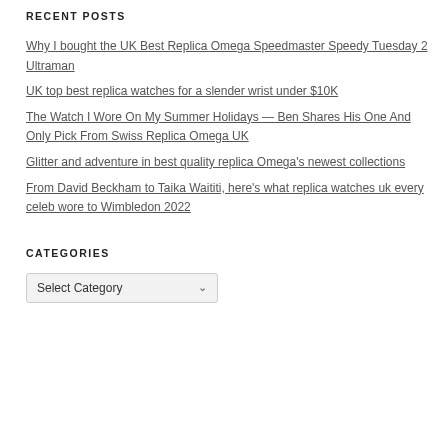RECENT POSTS
Why I bought the UK Best Replica Omega Speedmaster Speedy Tuesday 2 Ultraman
UK top best replica watches for a slender wrist under $10K
The Watch I Wore On My Summer Holidays — Ben Shares His One And Only Pick From Swiss Replica Omega UK
Glitter and adventure in best quality replica Omega's newest collections
From David Beckham to Taika Waititi, here's what replica watches uk every celeb wore to Wimbledon 2022
CATEGORIES
Select Category